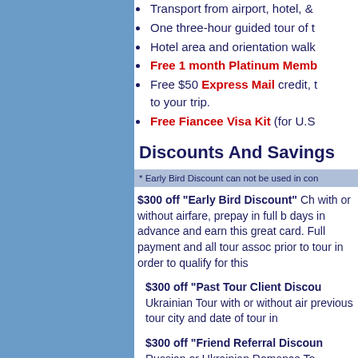Transport from airport, hotel, &
One three-hour guided tour of t
Hotel area and orientation walk
Free 1 month Platinum Memb
Free $50 Express Mail credit, to your trip.
Free Fiancee Visa Kit (for U.S
Discounts And Savings
* Early Bird Discount can not be used in con
$300 off "Early Bird Discount" Ch with or without airfare, prepay in full b days in advance and earn this great card. Full payment and all tour assoc prior to tour in order to qualify for this
$300 off "Past Tour Client Discou Ukrainian Tour with or without air previous tour city and date of tour in
$300 off "Friend Referral Discoun Russian or Ukrainian Romance To advertising is the core method by w addliketaandrala